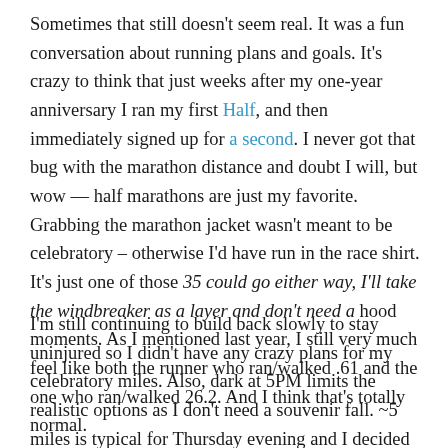Sometimes that still doesn't seem real. It was a fun conversation about running plans and goals. It's crazy to think that just weeks after my one-year anniversary I ran my first Half, and then immediately signed up for a second. I never got that bug with the marathon distance and doubt I will, but wow — half marathons are just my favorite. Grabbing the marathon jacket wasn't meant to be celebratory – otherwise I'd have run in the race shirt. It's just one of those 35 could go either way, I'll take the windbreaker as a layer and don't need a hood moments. As I mentioned last year, I still very much feel like both the runner who ran/walked .61 and the one who ran/walked 26.2. And I think that's totally normal.
I'm still continuing to build back slowly to stay uninjured so I didn't have any crazy plans for my celebratory miles. Also, dark at 5PM limits the realistic options as I don't need a souvenir fall. ~5 miles is typical for Thursday evening and I decided to go with 5.5, 1.1 mile for each year of running.